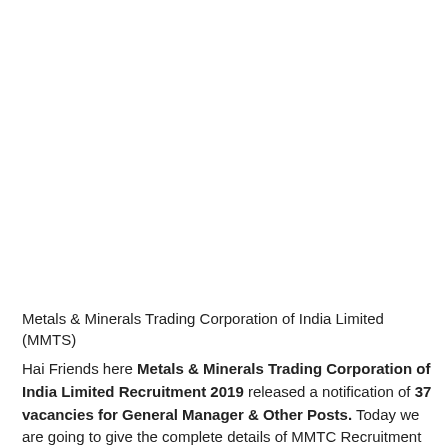Metals & Minerals Trading Corporation of India Limited (MMTS)
Hai Friends here Metals & Minerals Trading Corporation of India Limited Recruitment 2019 released a notification of 37 vacancies for General Manager & Other Posts. Today we are going to give the complete details of MMTC Recruitment 2019.